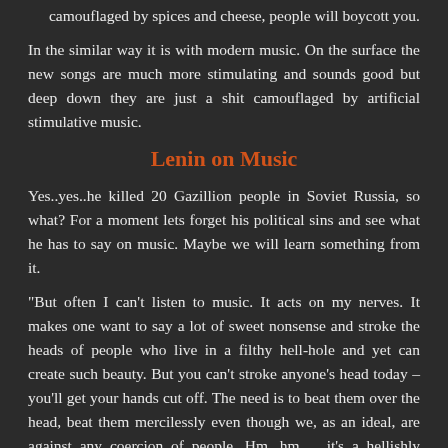camouflaged by spices and cheese, people will boycott you.
In the similar way it is with modern music. On the surface the new songs are much more stimulating and sounds good but deep down they are just a shit camouflaged by artificial stimulative music.
Lenin on Music
Yes..yes..he killed 20 Gazillion people in Soviet Russia, so what? For a moment lets forget his political sins and see what he has to say on music. Maybe we will learn something from it.
"But often I can't listen to music. It acts on my nerves. It makes one want to say a lot of sweet nonsense and stroke the heads of people who live in a filthy hell-hole and yet can create such beauty. But you can't stroke anyone's head today – you'll get your hands cut off. The need is to beat them over the head, beat them mercilessly even though we, as an ideal, are against any coercion of people. Hm, hm ... it's a hellishly difficult necessity."